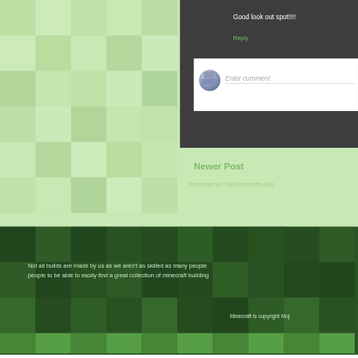[Figure (screenshot): Minecraft-style pixelated green block background pattern]
Good look out spot!!!!
Reply
Enter comment
Newer Post
Subscribe to: Post Comments (Ato
Not all builds are made by us as we aren't as skilled as many people people to be able to easily find a great collection of minecraft building
Minecraft is copyright Moj